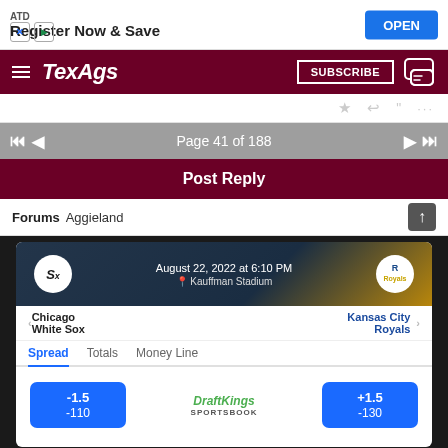[Figure (screenshot): Advertisement banner: ATD Register Now & Save with OPEN button]
[Figure (screenshot): TexAgs navigation header with hamburger menu, TexAgs logo, SUBSCRIBE button, and chat icon]
[Figure (screenshot): Icon row with star, reply, quote, and ellipsis icons]
Page 41 of 188
Post Reply
Forums  Aggieland
[Figure (screenshot): DraftKings Sportsbook betting card showing Chicago White Sox vs Kansas City Royals, August 22, 2022 at 6:10 PM, Kauffman Stadium. Spread tab selected. White Sox -1.5 -110, Royals +1.5 -130.]